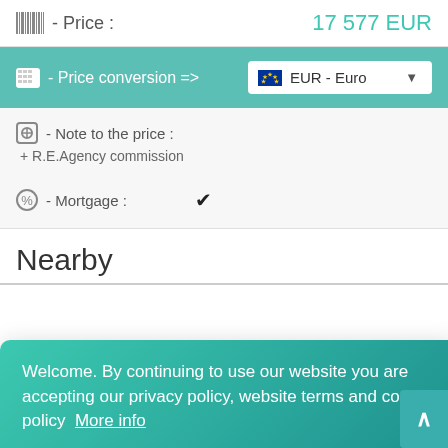- Price : 17 577 EUR
- Price conversion => EUR - Euro
- Note to the price : + R.E.Agency commission
- Mortgage : ✓
Nearby
Welcome. By continuing to use our website you are accepting our privacy policy, website terms and cookie policy  More info
Okay, Continue!